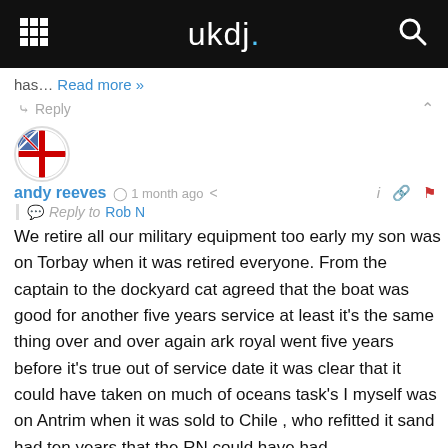ukdj.
has… Read more »
Reply
andy reeves · 1 month ago
Reply to Rob N
We retire all our military equipment too early my son was on Torbay when it was retired everyone. From the captain to the dockyard cat agreed that the boat was good for another five years service at least it's the same thing over and over again ark royal went five years before it's true out of service date it was clear that it could have taken on much of oceans task's I myself was on Antrim when it was sold to Chile , who refitted it sand had ten years that the RN could have had
Reply